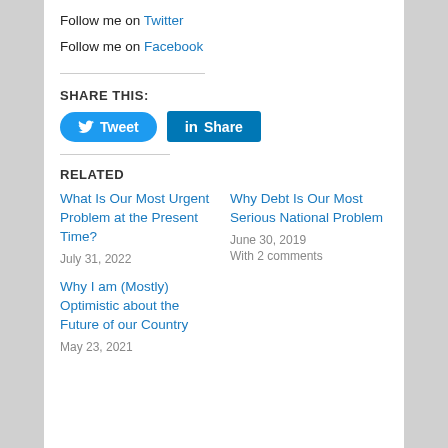Follow me on Twitter
Follow me on Facebook
SHARE THIS:
[Figure (other): Tweet button (Twitter) and Share button (LinkedIn)]
RELATED
What Is Our Most Urgent Problem at the Present Time? — July 31, 2022
Why Debt Is Our Most Serious National Problem — June 30, 2019 — With 2 comments
Why I am (Mostly) Optimistic about the Future of our Country — May 23, 2021